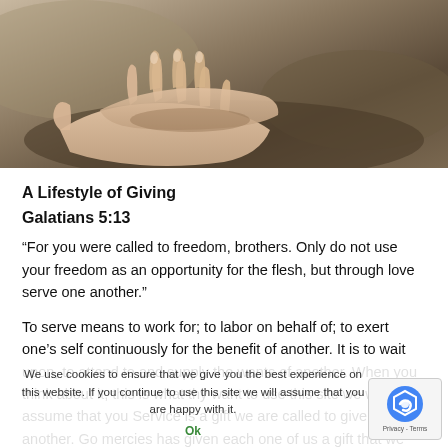[Figure (photo): Close-up photograph of cupped hands held open, appearing to receive or offer something, with a blurred outdoor background in warm brown/earthy tones.]
A Lifestyle of Giving
Galatians 5:13
“For you were called to freedom, brothers. Only do not use your freedom as an opportunity for the flesh, but through love serve one another.”
To serve means to work for; to labor on behalf of; to exert one’s self continuously for the benefit of another. It is to wait upon, to attend to and supply the wants of another. When you think about it, this is what thy want to use this site we will assume that you Service is a gift we are called to give to one another. Go mercies has given each one of us a gift that we are to u
We use cookies to ensure that we give you the best experience on this website. If you continue to use this site we will assume that you are happy with it.